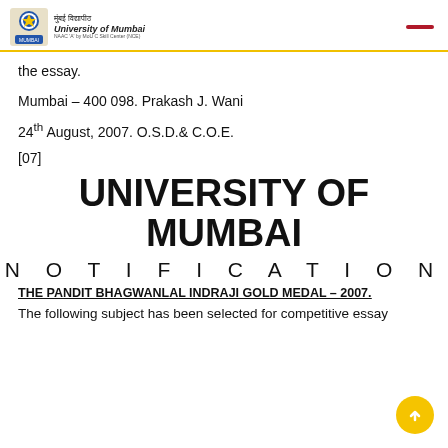University of Mumbai
the essay.
Mumbai – 400 098. Prakash J. Wani
24th August, 2007. O.S.D.& C.O.E.
[07]
UNIVERSITY OF MUMBAI
N O T I F I C A T I O N
THE PANDIT BHAGWANLAL INDRAJI GOLD MEDAL – 2007.
The following subject has been selected for competitive essay